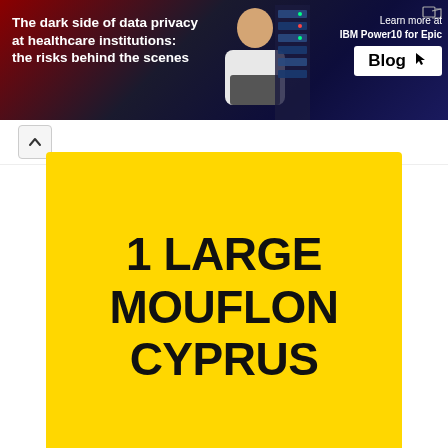[Figure (infographic): Advertisement banner: dark navy/red gradient background with text 'The dark side of data privacy at healthcare institutions: the risks behind the scenes', a person with a laptop, and 'Learn more at IBM Power10 for Epic' with a Blog button]
1 LARGE MOUFLON CYPRUS